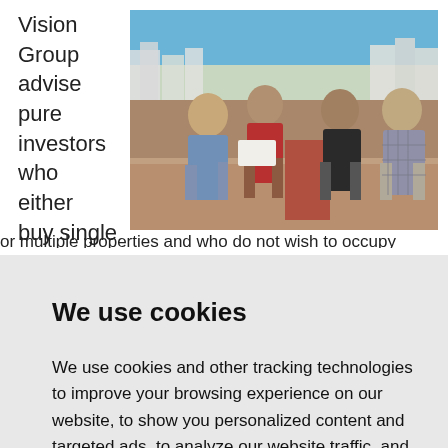Vision Group advise pure investors who either buy single
[Figure (photo): Four men standing on a rooftop terrace reviewing documents, with a coastal city skyline and sea in the background.]
or multiple properties and who do not wish to occupy
We use cookies
We use cookies and other tracking technologies to improve your browsing experience on our website, to show you personalized content and targeted ads, to analyze our website traffic, and